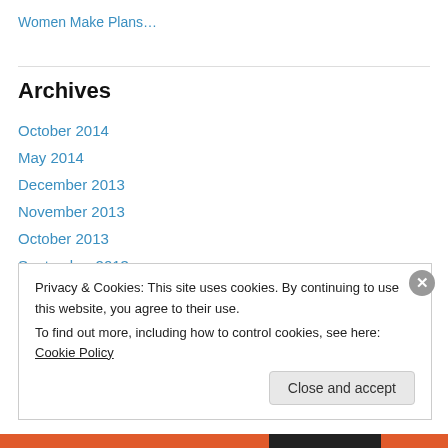Women Make Plans…
Archives
October 2014
May 2014
December 2013
November 2013
October 2013
September 2013
August 2013
July 2013
Privacy & Cookies: This site uses cookies. By continuing to use this website, you agree to their use. To find out more, including how to control cookies, see here: Cookie Policy
Close and accept